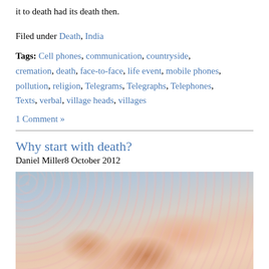it to death had its death then.
Filed under Death, India
Tags: Cell phones, communication, countryside, cremation, death, face-to-face, life event, mobile phones, pollution, religion, Telegrams, Telegraphs, Telephones, Texts, verbal, village heads, villages
1 Comment »
Why start with death?
Daniel Miller8 October 2012
[Figure (photo): Close-up photograph of two hands holding each other, resting on a pink knitted blanket with a blue fabric visible in the background.]